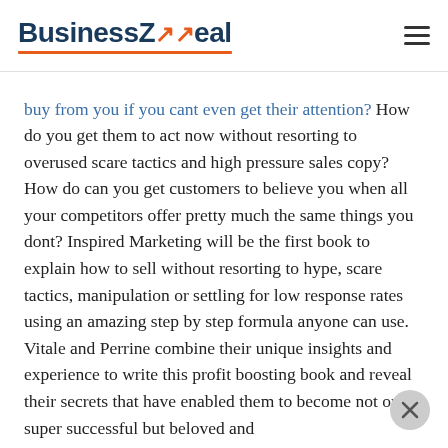BusinessZeal
buy from you if you cant even get their attention? How do you get them to act now without resorting to overused scare tactics and high pressure sales copy? How do can you get customers to believe you when all your competitors offer pretty much the same things you dont? Inspired Marketing will be the first book to explain how to sell without resorting to hype, scare tactics, manipulation or settling for low response rates using an amazing step by step formula anyone can use. Vitale and Perrine combine their unique insights and experience to write this profit boosting book and reveal their secrets that have enabled them to become not only super successful but beloved and